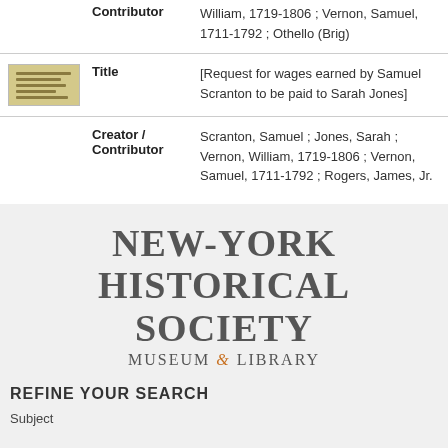|  | Field | Value |
| --- | --- | --- |
|  | Contributor | William, 1719-1806 ; Vernon, Samuel, 1711-1792 ; Othello (Brig) |
| [thumbnail] | Title | [Request for wages earned by Samuel Scranton to be paid to Sarah Jones] |
|  | Creator / Contributor | Scranton, Samuel ; Jones, Sarah ; Vernon, William, 1719-1806 ; Vernon, Samuel, 1711-1792 ; Rogers, James, Jr. |
[Figure (illustration): Small thumbnail of a handwritten historical document]
[Figure (logo): New-York Historical Society Museum & Library logo]
REFINE YOUR SEARCH
Subject